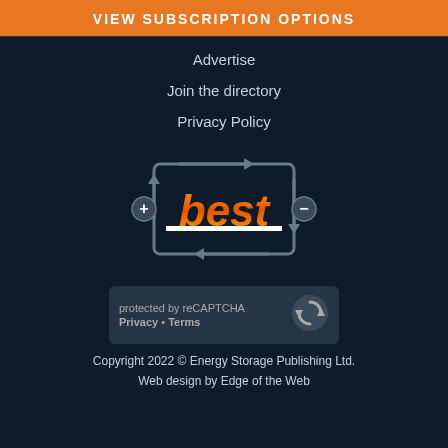VIEW SUBSCRIPTION OPTIONS
Advertise
Join the directory
Privacy Policy
[Figure (logo): BEST logo with circular arrows and plus/minus signs on dark background]
protected by reCAPTCHA Privacy • Terms
Copyright 2022 © Energy Storage Publishing Ltd.
Web design by Edge of the Web